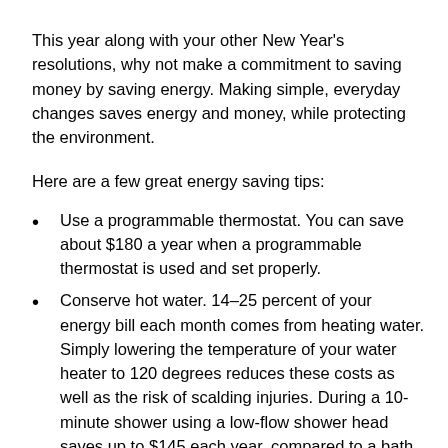This year along with your other New Year's resolutions, why not make a commitment to saving money by saving energy. Making simple, everyday changes saves energy and money, while protecting the environment.
Here are a few great energy saving tips:
Use a programmable thermostat. You can save about $180 a year when a programmable thermostat is used and set properly.
Conserve hot water. 14–25 percent of your energy bill each month comes from heating water. Simply lowering the temperature of your water heater to 120 degrees reduces these costs as well as the risk of scalding injuries. During a 10-minute shower using a low-flow shower head saves up to $145 each year, compared to a bath or old-